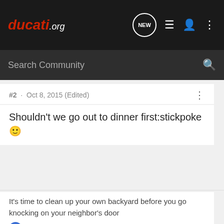ducati.org - navigation bar with search
#2 · Oct 8, 2015 (Edited)
Shouldn't we go out to dinner first:stickpoke 🙂
It's time to clean up your own backyard before you go knocking on your neighbor's door
jsgbearpaws1, VJ020, Joeii and 6 others
Reply   Quote
Dmitriy5099 · Registered
Joined May 21, 2014 · 1,580 Posts